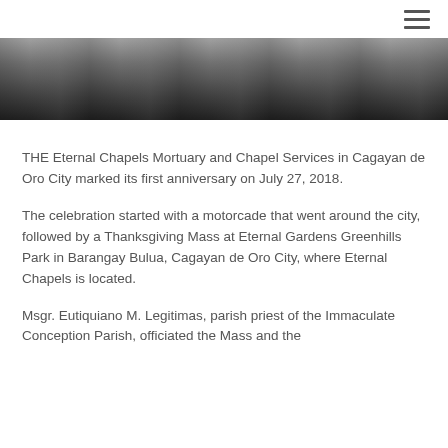≡
[Figure (photo): A dark horizontal photo strip showing a crowd of people, partially visible at the top of the page.]
THE Eternal Chapels Mortuary and Chapel Services in Cagayan de Oro City marked its first anniversary on July 27, 2018.
The celebration started with a motorcade that went around the city, followed by a Thanksgiving Mass at Eternal Gardens Greenhills Park in Barangay Bulua, Cagayan de Oro City, where Eternal Chapels is located.
Msgr. Eutiquiano M. Legitimas, parish priest of the Immaculate Conception Parish, officiated the Mass and the…